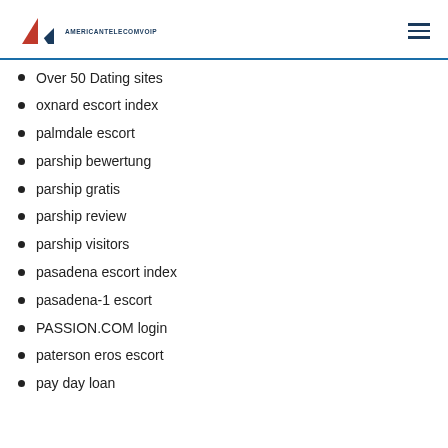AMERICANTELECOMVOIP
Over 50 Dating sites
oxnard escort index
palmdale escort
parship bewertung
parship gratis
parship review
parship visitors
pasadena escort index
pasadena-1 escort
PASSION.COM login
paterson eros escort
pay day loan